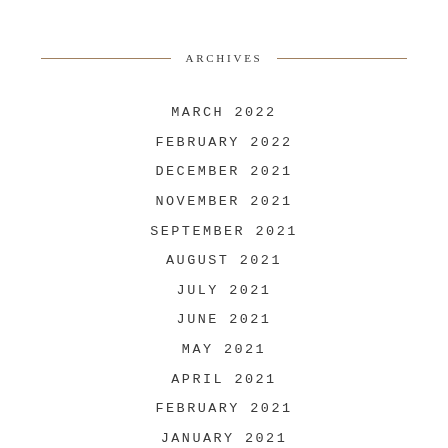ARCHIVES
MARCH 2022
FEBRUARY 2022
DECEMBER 2021
NOVEMBER 2021
SEPTEMBER 2021
AUGUST 2021
JULY 2021
JUNE 2021
MAY 2021
APRIL 2021
FEBRUARY 2021
JANUARY 2021